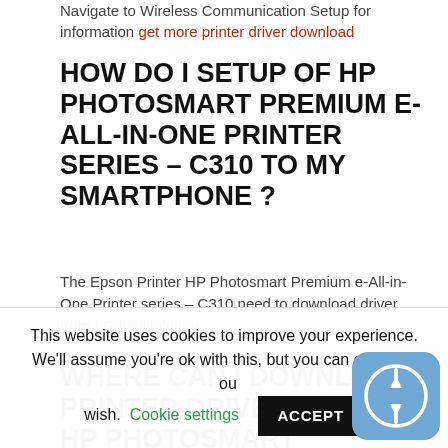Navigate to Wireless Communication Setup for information get more printer driver download
HOW DO I SETUP OF HP PHOTOSMART PREMIUM E-ALL-IN-ONE PRINTER SERIES – C310 TO MY SMARTPHONE ?
The Epson Printer HP Photosmart Premium e-All-in-One Printer series – C310 need to download driver from ] Get instalation
WHERE CAN I DOWNLOAD PRINTER DRIVER CANON HP PHOTOSMART PREMIUM E-ALL-IN-ONE PRINTER SERIES – C310?
Download the driver and then double click to run the
This website uses cookies to improve your experience. We'll assume you're ok with this, but you can opt-out if you wish. Cookie settings ACCEPT